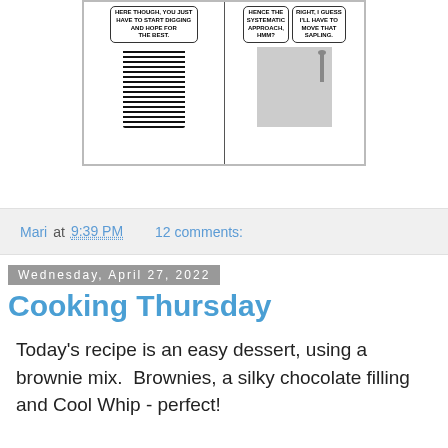[Figure (illustration): Calvin and Hobbes comic strip panels — left panel shows tiger character digging with a shovel, speech bubble: 'HERE THOUGH, YOU JUST HAVE TO START DIGGING AND HOPE FOR THE BEST.'; right panel shows boy standing in rocky yard with a sapling, two speech bubbles: 'HENCE THE SYSTEMATIC APPROACH, HMM?' and 'RIGHT, I GUESS I'LL HAVE TO MOVE THAT SAPLING.']
Mari at 9:39 PM    12 comments:
Wednesday, April 27, 2022
Cooking Thursday
Today's recipe is an easy dessert, using a brownie mix.  Brownies, a silky chocolate filling and Cool Whip - perfect!